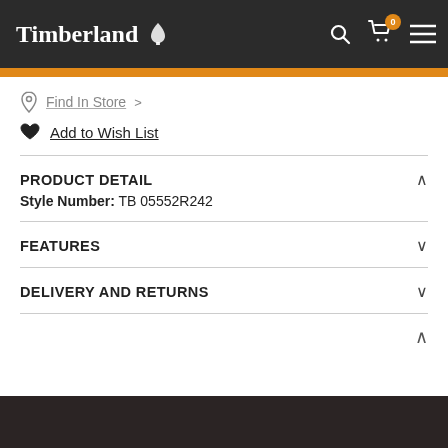Timberland
Find In Store >
Add to Wish List
PRODUCT DETAIL
Style Number: TB 05552R242
FEATURES
DELIVERY AND RETURNS